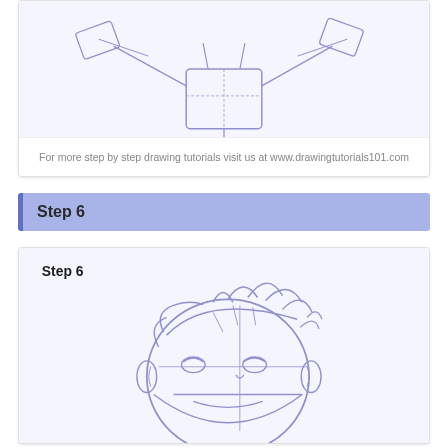[Figure (illustration): Partial view of a chibi/cartoon character sketch in blue-purple pencil lines on light blue background showing upper body with outstretched arms and geometric construction lines]
For more step by step drawing tutorials visit us at www.drawingtutorials101.com
Step 6
[Figure (illustration): Step 6 drawing tutorial showing a chibi/cartoon boy face sketch in blue-purple pencil lines with construction guidelines, hair spikes, large round eyes, circular head shape, and small ears on light blue background]
Step 6